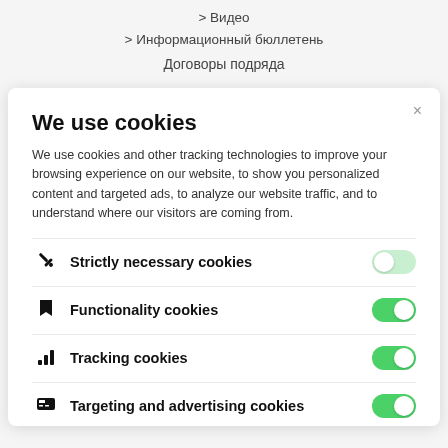> Видео
> Информационный бюллетень
Договоры подряда
We use cookies
We use cookies and other tracking technologies to improve your browsing experience on our website, to show you personalized content and targeted ads, to analyze our website traffic, and to understand where our visitors are coming from.
Strictly necessary cookies
Functionality cookies
Tracking cookies
Targeting and advertising cookies
Privacy Policy
Accept selected cookies